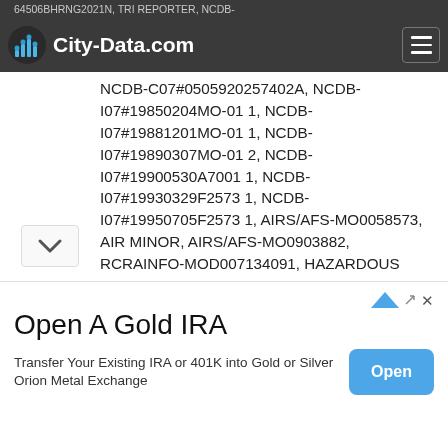City-Data.com
64506BHRNG2021N, TRI REPORTER, NCDB-C07#050BG73-01, COMPLIANCE ACTIVITY, NCDB-C07#0505920257402A, NCDB-I07#19850204MO-01 1, NCDB-I07#19881201MO-01 1, NCDB-I07#19890307MO-01 2, NCDB-I07#19900530A7001 1, NCDB-I07#19930329F2573 1, NCDB-I07#19950705F2573 1, AIRS/AFS-MO0058573, AIR MINOR, AIRS/AFS-MO0903882, RCRAINFO-MOD007134091, HAZARDOUS WASTE PROGRAM, LQG, PCS-MOR102302, NPDES NON-MAJOR, PCS-MOR23A085, PCS-MOR23A086, NEI-NTIMO15008, AIR PROGRAM COMPLIANCE ACTIVITY (Tracking inspections of insecticide, fungicide, and rodenticide, and toxic substances)
[Figure (screenshot): Advertisement banner: Open A Gold IRA — Transfer Your Existing IRA or 401K into Gold or Silver Orion Metal Exchange. Open button.]